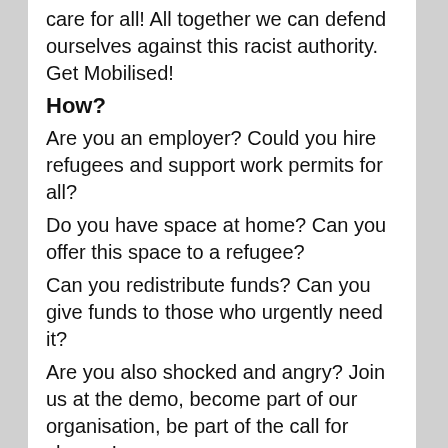care for all! All together we can defend ourselves against this racist authority. Get Mobilised!
How?
Are you an employer? Could you hire refugees and support work permits for all?
Do you have space at home? Can you offer this space to a refugee?
Can you redistribute funds? Can you give funds to those who urgently need it?
Are you also shocked and angry? Join us at the demo, become part of our organisation, be part of the call for change!
----
Faire comprendre les droits de l'Homme à la Ausländerbehörde
Saviez-vous que l'État allemand finance une